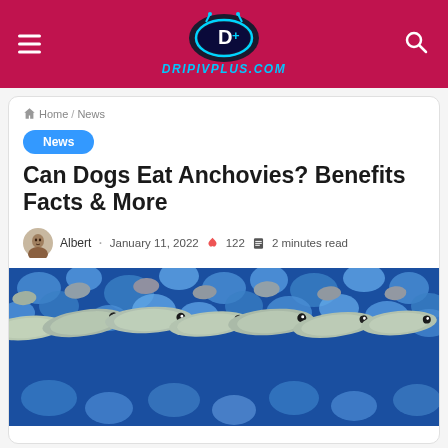DRIPIVPLUS.COM
Home / News
News
Can Dogs Eat Anchovies? Benefits Facts & More
Albert · January 11, 2022 🔥 122 📖 2 minutes read
[Figure (photo): Several fresh anchovies lined up on crushed blue ice]